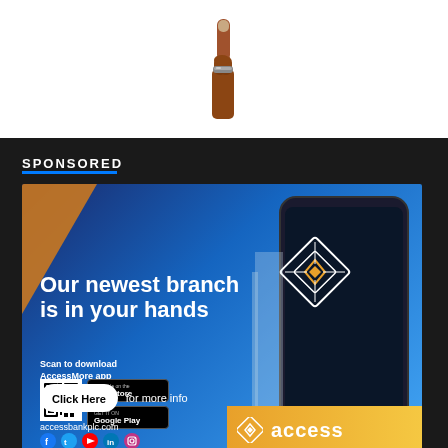[Figure (photo): A hand with index finger pointing upward against a white background]
SPONSORED
[Figure (illustration): Access Bank advertisement banner showing 'Our newest branch is in your hands' with a smartphone mockup displaying the Access Bank logo, a QR code to download AccessMore app, App Store and Google Play badges, a Click Here button for more info, accessbankplc.com website URL, social media icons, and the Access Bank logo with orange diamond in the bottom right corner]